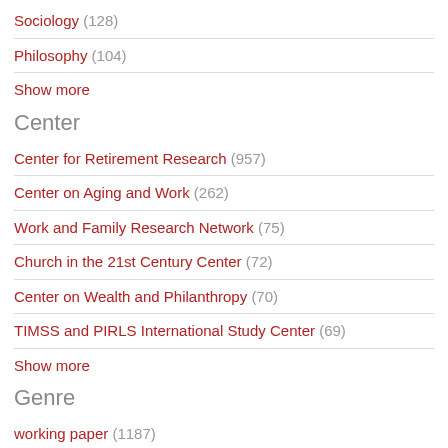Sociology (128)
Philosophy (104)
Show more
Center
Center for Retirement Research (957)
Center on Aging and Work (262)
Work and Family Research Network (75)
Church in the 21st Century Center (72)
Center on Wealth and Philanthropy (70)
TIMSS and PIRLS International Study Center (69)
Show more
Genre
working paper (1187)
report (872)
thesis (746)
article (618)